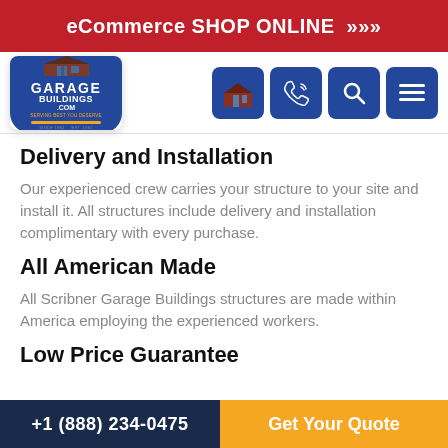eCommerce SHOP ONLINE >>>
[Figure (logo): GarageBuildings.com logo with shield emblem and navigation icons (building, phone, search, menu)]
Delivery and Installation
Our experienced crew carries your structure to your site and install it. All structures include delivery and installation complimentary with every purchase.
All American Made
All Scribner Garage Buildings structures are made within America employing the experienced workers.
Low Price Guarantee
+1 (888) 234-0475   Get Your Quote